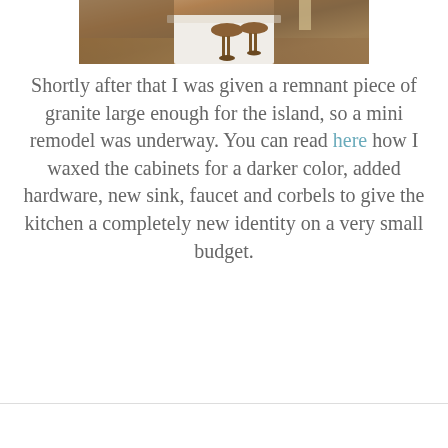[Figure (photo): Kitchen island with white base, granite or light countertop, and two wooden bar stools. Brown cabinetry and tile flooring visible in background.]
Shortly after that I was given a remnant piece of granite large enough for the island, so a mini remodel was underway. You can read here how I waxed the cabinets for a darker color, added hardware, new sink, faucet and corbels to give the kitchen a completely new identity on a very small budget.